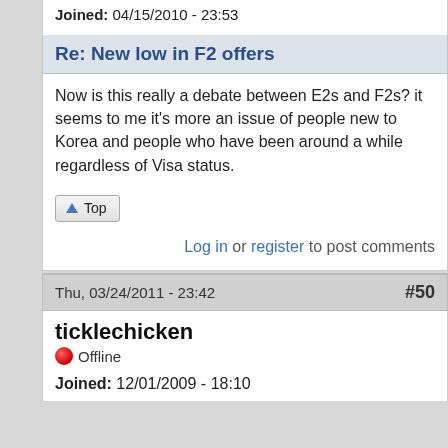Joined: 04/15/2010 - 23:53
Re: New low in F2 offers
Now is this really a debate between E2s and F2s? it seems to me it's more an issue of people new to Korea and people who have been around a while regardless of Visa status.
Top
Log in or register to post comments
Thu, 03/24/2011 - 23:42  #50
ticklechicken
Offline
Joined: 12/01/2009 - 18:10